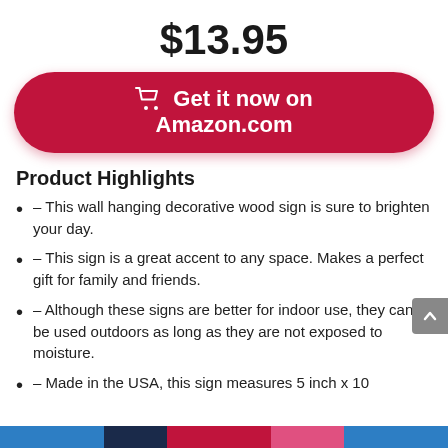$13.95
[Figure (other): Red rounded button with shopping cart icon and text 'Get it now on Amazon.com']
Product Highlights
– This wall hanging decorative wood sign is sure to brighten your day.
– This sign is a great accent to any space. Makes a perfect gift for family and friends.
– Although these signs are better for indoor use, they can be used outdoors as long as they are not exposed to moisture.
– Made in the USA, this sign measures 5 inch x 10